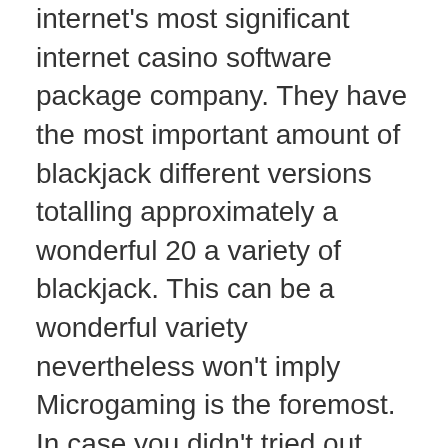internet's most significant internet casino software package company. They have the most important amount of blackjack different versions totalling approximately a wonderful 20 a variety of blackjack. This can be a wonderful variety nevertheless won't imply Microgaming is the foremost. In case you didn't tried out various other casinos employing various other software package you must accomplish that along with decide by yourself and that is ideal in your case. A pair of in the presented different versions involving blackjack offered using Microgaming software package can be Multihand Ocean Area Blackjack.
Similar to basic blackjack it can be tinkered with one particular fladskærm minute card